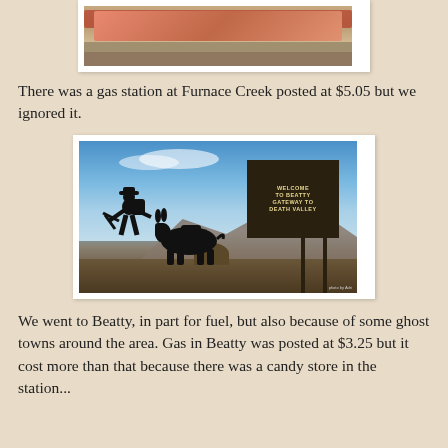[Figure (photo): Partial photo at top of page showing a building with red flowers, partially cropped]
There was a gas station at Furnace Creek posted at $5.05 but we ignored it.
[Figure (photo): Photo of 'Welcome to Beatty Gateway to Death Valley' sign with silhouette of miner and donkey against blue sky and mountains]
We went to Beatty, in part for fuel, but also because of some ghost towns around the area. Gas in Beatty was posted at $3.25 but it cost more than that because there was a candy store in the station...